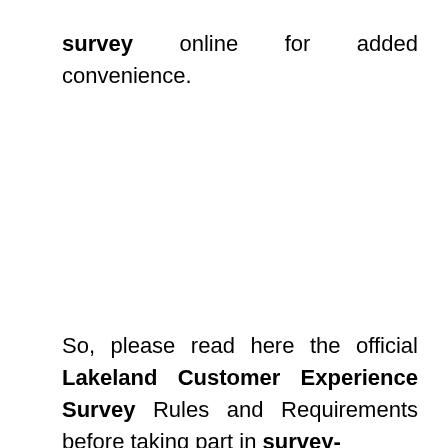survey online for added convenience.
So, please read here the official Lakeland Customer Experience Survey Rules and Requirements before taking part in survey-